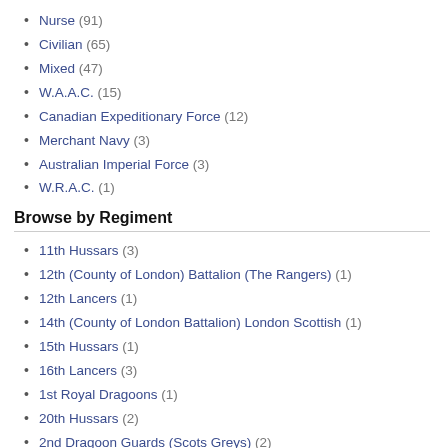Nurse (91)
Civilian (65)
Mixed (47)
W.A.A.C. (15)
Canadian Expeditionary Force (12)
Merchant Navy (3)
Australian Imperial Force (3)
W.R.A.C. (1)
Browse by Regiment
11th Hussars (3)
12th (County of London) Battalion (The Rangers) (1)
12th Lancers (1)
14th (County of London Battalion) London Scottish (1)
15th Hussars (1)
16th Lancers (3)
1st Royal Dragoons (1)
20th Hussars (2)
2nd Dragoon Guards (Scots Greys) (2)